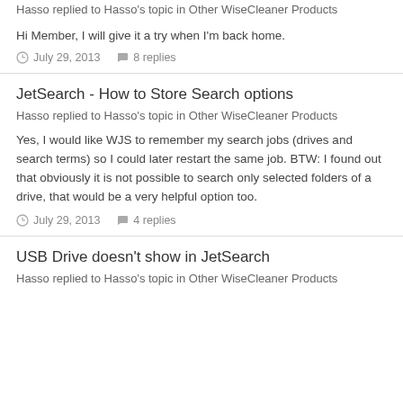Hasso replied to Hasso's topic in Other WiseCleaner Products
Hi Member, I will give it a try when I'm back home.
July 29, 2013   8 replies
JetSearch - How to Store Search options
Hasso replied to Hasso's topic in Other WiseCleaner Products
Yes, I would like WJS to remember my search jobs (drives and search terms) so I could later restart the same job. BTW: I found out that obviously it is not possible to search only selected folders of a drive, that would be a very helpful option too.
July 29, 2013   4 replies
USB Drive doesn't show in JetSearch
Hasso replied to Hasso's topic in Other WiseCleaner Products